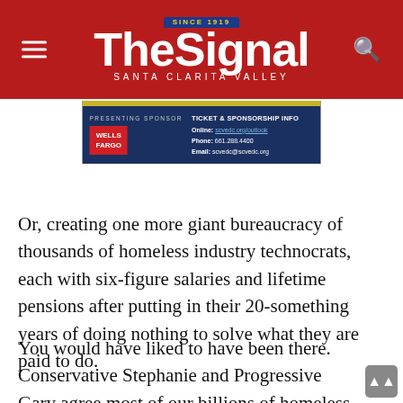The Signal — Santa Clarita Valley
[Figure (advertisement): Wells Fargo presenting sponsor ad for SCVEDC event with ticket and sponsorship info: Online: scvedc.org/outlook, Phone: 661.288.4400, Email: scvedc@scvedc.org]
Or, creating one more giant bureaucracy of thousands of homeless industry technocrats, each with six-figure salaries and lifetime pensions after putting in their 20-something years of doing nothing to solve what they are paid to do.
You would have liked to have been there. Conservative Stephanie and Progressive Gary agree most of our billions of homeless funds we've already spent are fully wasted, fully gone, with only another